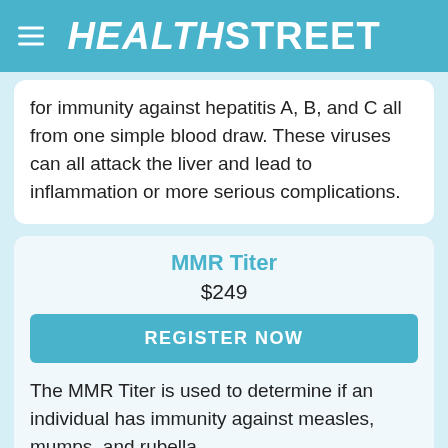HealthStreet
for immunity against hepatitis A, B, and C all from one simple blood draw. These viruses can all attack the liver and lead to inflammation or more serious complications.
MMR Titer
$249
REGISTER NOW
The MMR Titer is used to determine if an individual has immunity against measles, mumps, and rubella.